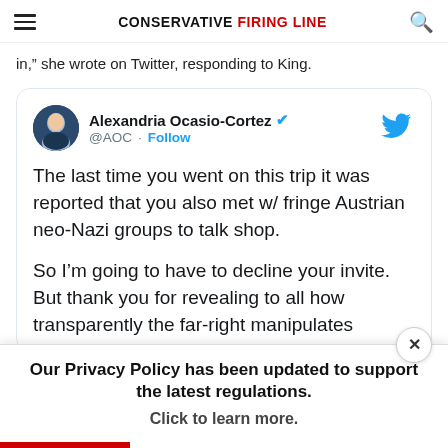CONSERVATIVE FIRING LINE
in,” she wrote on Twitter, responding to King.
[Figure (screenshot): Embedded tweet from Alexandria Ocasio-Cortez (@AOC) with verified badge and Follow button. Tweet text: 'The last time you went on this trip it was reported that you also met w/ fringe Austrian neo-Nazi groups to talk shop. So I’m going to have to decline your invite. But thank you for revealing to all how transparently the far-right manipulates']
Our Privacy Policy has been updated to support the latest regulations. Click to learn more.